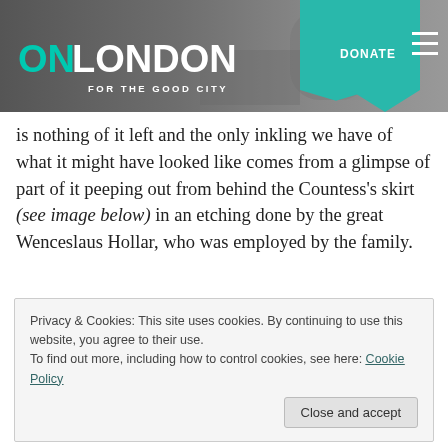[Figure (screenshot): OnLondon website header with logo reading 'ONLONDON FOR THE GOOD CITY', a teal DONATE button, hamburger menu icon, and a greyscale cityscape background photo.]
is nothing of it left and the only inkling we have of what it might have looked like comes from a glimpse of part of it peeping out from behind the Countess's skirt (see image below) in an etching done by the great Wenceslaus Hollar, who was employed by the family.
Privacy & Cookies: This site uses cookies. By continuing to use this website, you agree to their use. To find out more, including how to control cookies, see here: Cookie Policy